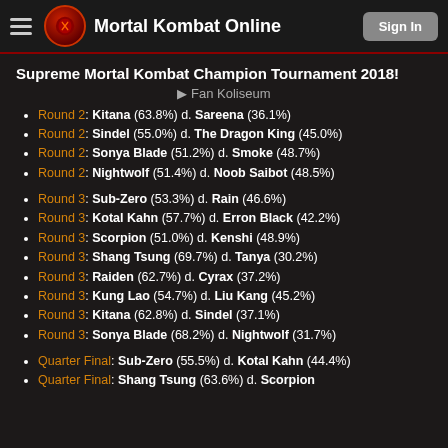Mortal Kombat Online | Sign In
Supreme Mortal Kombat Champion Tournament 2018!
Fan Koliseum
Round 2: Kitana (63.8%) d. Sareena (36.1%)
Round 2: Sindel (55.0%) d. The Dragon King (45.0%)
Round 2: Sonya Blade (51.2%) d. Smoke (48.7%)
Round 2: Nightwolf (51.4%) d. Noob Saibot (48.5%)
Round 3: Sub-Zero (53.3%) d. Rain (46.6%)
Round 3: Kotal Kahn (57.7%) d. Erron Black (42.2%)
Round 3: Scorpion (51.0%) d. Kenshi (48.9%)
Round 3: Shang Tsung (69.7%) d. Tanya (30.2%)
Round 3: Raiden (62.7%) d. Cyrax (37.2%)
Round 3: Kung Lao (54.7%) d. Liu Kang (45.2%)
Round 3: Kitana (62.8%) d. Sindel (37.1%)
Round 3: Sonya Blade (68.2%) d. Nightwolf (31.7%)
Quarter Final: Sub-Zero (55.5%) d. Kotal Kahn (44.4%)
Quarter Final: Shang Tsung (63.6%) d. Scorpion